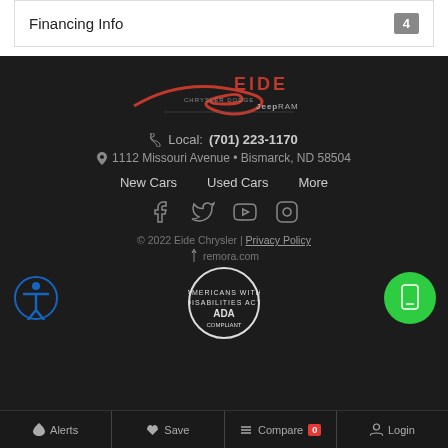Financing Info  4
[Figure (logo): Eide Chrysler Dodge Jeep Ram dealership logo in red and white on dark background]
Local: (701) 223-1170
1112 Missouri Avenue • Bismarck, ND 58504
New Cars  Used Cars  More
[Figure (other): Social media icons: Facebook, Twitter, YouTube, Instagram]
© 2022 Eide Chrysler | Privacy Policy
remora.com
[Figure (logo): ADA Compliant seal badge]
Alerts  Save  Compare 0  Login